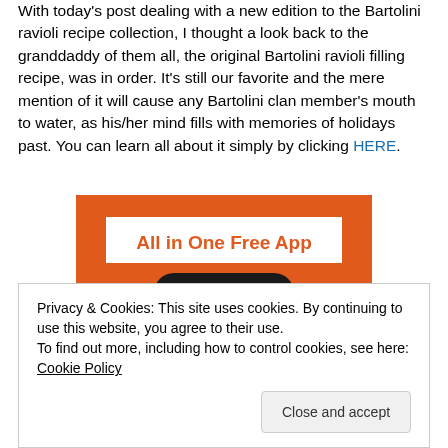With today's post dealing with a new edition to the Bartolini ravioli recipe collection, I thought a look back to the granddaddy of them all, the original Bartolini ravioli filling recipe, was in order. It's still our favorite and the mere mention of it will cause any Bartolini clan member's mouth to water, as his/her mind fills with memories of holidays past. You can learn all about it simply by clicking HERE.
[Figure (illustration): DuckDuckGo 'All in One Free App' advertisement banner showing a smartphone with the DuckDuckGo duck logo on an orange background]
Privacy & Cookies: This site uses cookies. By continuing to use this website, you agree to their use.
To find out more, including how to control cookies, see here: Cookie Policy